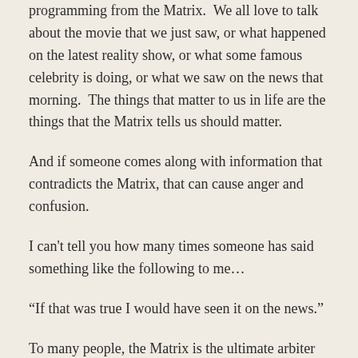programming from the Matrix.  We all love to talk about the movie that we just saw, or what happened on the latest reality show, or what some famous celebrity is doing, or what we saw on the news that morning.  The things that matter to us in life are the things that the Matrix tells us should matter.
And if someone comes along with information that contradicts the Matrix, that can cause anger and confusion.
I can't tell you how many times someone has said something like the following to me…
“If that was true I would have seen it on the news.”
To many people, the Matrix is the ultimate arbiter of truth in our society, and so anything that contradicts the Matrix cannot possibly be accurate.